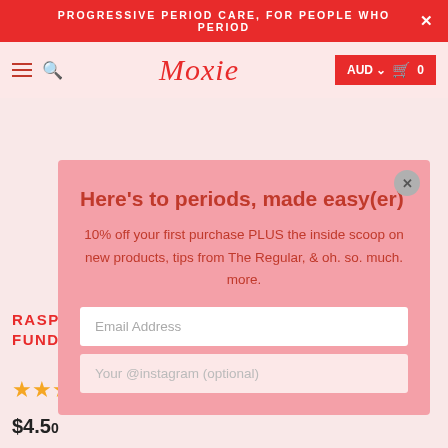PROGRESSIVE PERIOD CARE, FOR PEOPLE WHO PERIOD
[Figure (logo): Moxie brand logo in red italic script font]
AUD 0
Here's to periods, made easy(er)
10% off your first purchase PLUS the inside scoop on new products, tips from The Regular, & oh. so. much. more.
Email Address
Your @instagram (optional)
RASPBERRY LEMONADE FUND...
★★★
$4.50